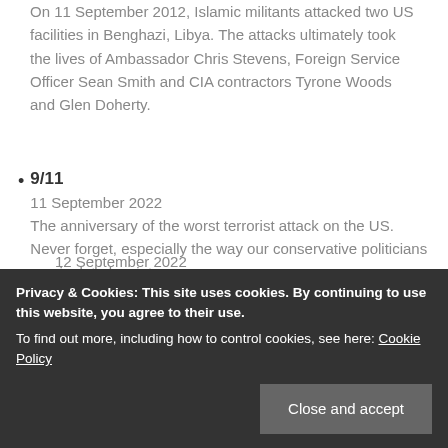On 11 September 2012, Islamic militants attacked two US facilities in Benghazi, Libya. The attacks ultimately took the lives of Ambassador Chris Stevens, Foreign Service Officer Sean Smith and CIA contractors Tyrone Woods and Glen Doherty.
9/11
11 September 2022
The anniversary of the worst terrorist attack on the US. Never forget, especially the way our conservative politicians manipulated us into
12 September 2022
Privacy & Cookies: This site uses cookies. By continuing to use this website, you agree to their use.
To find out more, including how to control cookies, see here: Cookie Policy